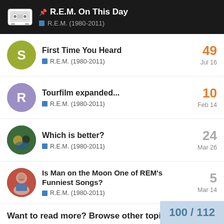📌 R.E.M. On This Day — R.E.M. (1980-2011)
First Time You Heard — R.E.M. (1980-2011) — 49 replies — Jul 16
Tourfilm expanded... — R.E.M. (1980-2011) — 10 replies — Feb 14
Which is better? — R.E.M. (1980-2011) — 24 replies — Mar 26
Is Man on the Moon One of REM's Funniest Songs? — R.E.M. (1980-2011) — 5 replies — Mar 14
Want to read more? Browse other topics in R.E.M. (1980-2011) or view latest top
100 / 112